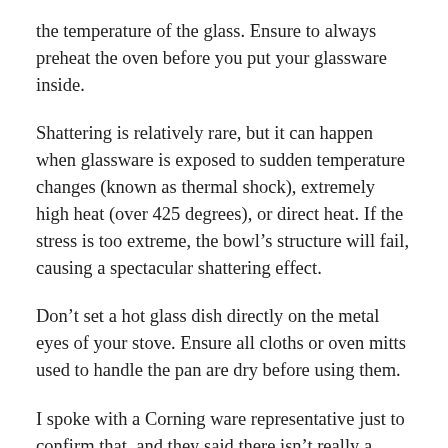the temperature of the glass. Ensure to always preheat the oven before you put your glassware inside.
Shattering is relatively rare, but it can happen when glassware is exposed to sudden temperature changes (known as thermal shock), extremely high heat (over 425 degrees), or direct heat. If the stress is too extreme, the bowl’s structure will fail, causing a spectacular shattering effect.
Don’t set a hot glass dish directly on the metal eyes of your stove. Ensure all cloths or oven mitts used to handle the pan are dry before using them.
I spoke with a Corning ware representative just to confirm that, and they said there isn’t really a maximum temperature in terms of home use. The heat source in a regular oven is stationary, usually radiating from a heating element in the bottom of